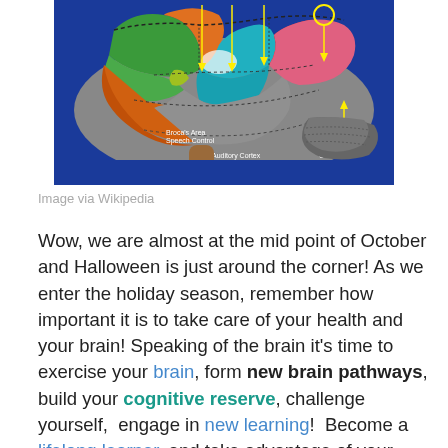[Figure (illustration): Colorful diagram of the human brain showing labeled regions: Broca's Area Speech Control, Auditory Cortex, Wernicke's Area Speech Interpretation, Cerebellum. Various lobes colored in green, orange, teal, red, pink, gray on a blue background.]
Image via Wikipedia
Wow, we are almost at the mid point of October and Halloween is just around the corner! As we enter the holiday season, remember how important it is to take care of your health and your brain! Speaking of the brain it's time to exercise your brain, form new brain pathways, build your cognitive reserve, challenge yourself, engage in new learning! Become a lifelong learner, and take advantage of your brain and neuroplasticity skills through new learning. We are never too old for new